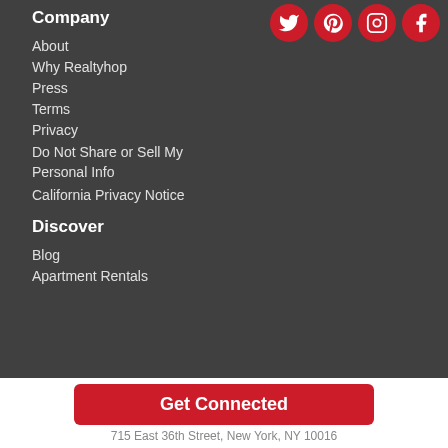Company
[Figure (logo): Social media icons: Twitter, Pinterest, Instagram, Facebook — white icons on red circular backgrounds]
About
Why Realtyhop
Press
Terms
Privacy
Do Not Share or Sell My Personal Info
California Privacy Notice
Discover
Blog
Apartment Rentals
Get Connected
715 East 36th Street, New York, NY 10016